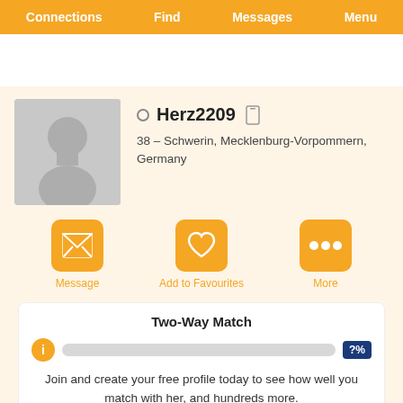Connections  Find  Messages  Menu
[Figure (illustration): Female silhouette avatar placeholder image with grey background]
Herz2209
38 – Schwerin, Mecklenburg-Vorpommern, Germany
Message
Add to Favourites
More
Two-Way Match
Join and create your free profile today to see how well you match with her, and hundreds more.
Join now
Online: More than 6 months ago